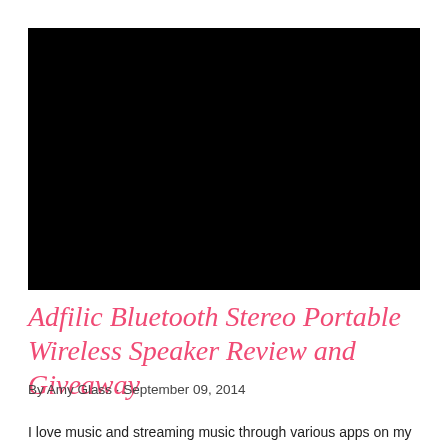[Figure (photo): Large black rectangular image placeholder at the top of the blog post page]
Adfilic Bluetooth Stereo Portable Wireless Speaker Review and Giveaway
By Amy Glass · September 09, 2014
I love music and streaming music through various apps on my